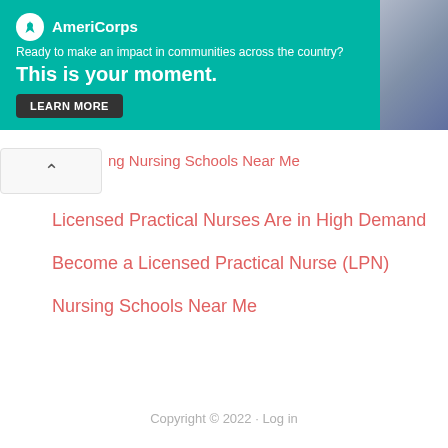[Figure (screenshot): AmeriCorps advertisement banner with teal background. Logo with white circle, tagline 'Ready to make an impact in communities across the country?', headline 'This is your moment.', and a LEARN MORE button. Photo of student on right side.]
ng Nursing Schools Near Me
Licensed Practical Nurses Are in High Demand
Become a Licensed Practical Nurse (LPN)
Nursing Schools Near Me
Copyright © 2022 · Log in